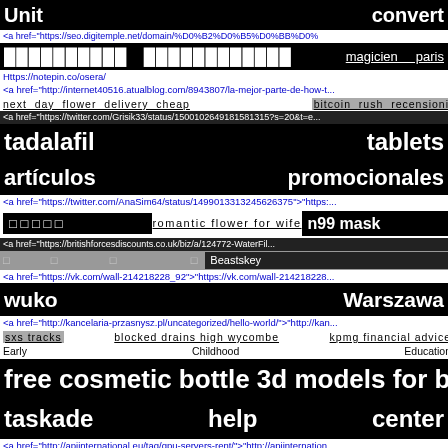Unit    convert
<a href="https://seo.digitemple.net/domain/%D0%B2%D0%B5%D0%BB%D0%...
████████  ████████████   magicien paris
Https://notepin.co/osera/
<a href="http://internet40516.atualblog.com/8943807/la-mejor-parte-de-how-t...
next day flower delivery cheap   bitcoin rush recensioni
<a href="https://twitter.com/Grisik33/status/1500102649181581315?s=20&t=e...
tadalafil    tablets
artículos    promocionales
<a href="https://twitter.com/AnaSim64/status/1499013313245626375">"https:...
□ □ □ □ □   romantic flower for wife   n99 mask
<a href="https://britishforcesdiscounts.co.uk/biz/a/124772-WaterFil...
□   □   □   □   Beastskey
<a href="https://vk.com/wall-214218228_92">"https://vk.com/wall-214218228...
wuko    Warszawa
<a href="http://kancelaria-przasnysz.pl/uncategorized/hello-world/">"http://kan...
sxs tracks   blocked drains high wycombe   kpmg financial advice
Early    Childhood    Education
free cosmetic bottle 3d models for blen...
taskade    help    center
<a href="http://apiinternational.eu/tag/gpu-servers-rent/">"http://apiinternation...
repair a bad nose job   comprar seguidores reais brasileiros   ██
████████████████   Insuretech   ████████  ██